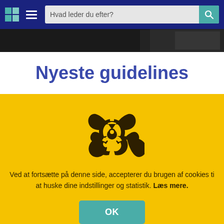Hvad leder du efter?
[Figure (screenshot): Dark forest/nature image strip at top of page]
Nyeste guidelines
[Figure (illustration): Biohazard symbol in dark brown/black on yellow background]
Ved at fortsætte på denne side, accepterer du brugen af cookies ti at huske dine indstillinger og statistik. Læs mere.